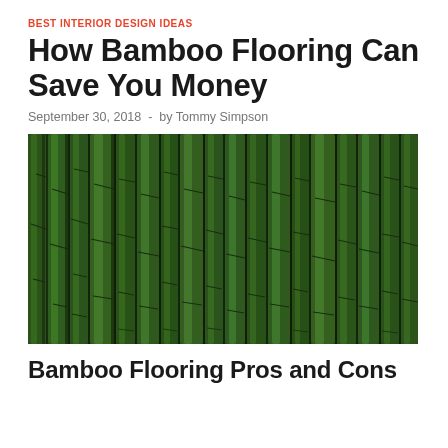BEST INTERIOR DESIGN IDEAS
How Bamboo Flooring Can Save You Money
September 30, 2018  -  by Tommy Simpson
[Figure (photo): Close-up photograph of green bamboo stalks arranged vertically, tightly packed together showing the cylindrical texture and dark markings of bamboo.]
Bamboo Flooring Pros and Cons